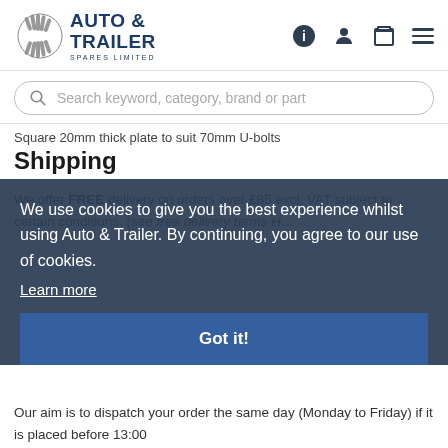[Figure (logo): Auto & Trailer Spares Limited logo with tire/wheat icon and bold blue text]
Search keyword, category, brand or part
Square 20mm thick plate to suit 70mm U-bolts
Shipping
We offer FREE delivery on orders over £85 excl. VAT subject to certain conditions. (see free delivery terms H...
We use cookies to give you the best experience whilst using Auto & Trailer. By continuing, you agree to our use of cookies.
Learn more
Got it!
Our aim is to dispatch your order the same day (Monday to Friday) if it is placed before 13:00
Some larger and heavier items that require special handling, including but not exclusive to: